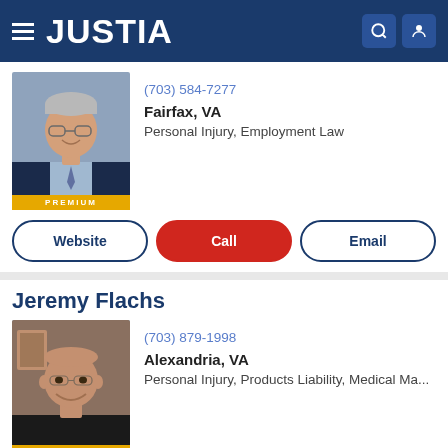JUSTIA
(703) 584-7277
Fairfax, VA
Personal Injury, Employment Law
Website | Call | Email
Jeremy Flachs
(703) 879-1998
Alexandria, VA
Personal Injury, Products Liability, Medical Ma...
Website | Call | Email